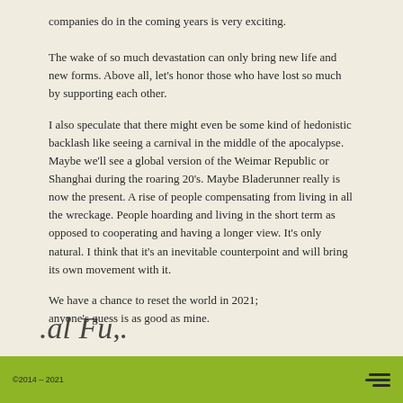companies do in the coming years is very exciting.
The wake of so much devastation can only bring new life and new forms. Above all, let's honor those who have lost so much by supporting each other.
I also speculate that there might even be some kind of hedonistic backlash like seeing a carnival in the middle of the apocalypse. Maybe we'll see a global version of the Weimar Republic or Shanghai during the roaring 20's. Maybe Bladerunner really is now the present. A rise of people compensating from living in all the wreckage. People hoarding and living in the short term as opposed to cooperating and having a longer view. It's only natural. I think that it's an inevitable counterpoint and will bring its own movement with it.
We have a chance to reset the world in 2021; anyone's guess is as good as mine.
[Figure (illustration): Partial signature or stylized text at bottom of page, partially cut off]
©2014 – 2021